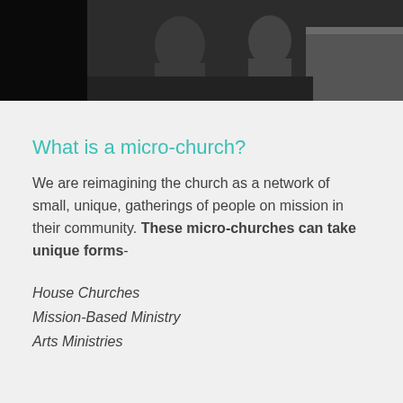[Figure (photo): A photograph of people sitting, cropped at the top of the page, showing a dark indoor setting.]
What is a micro-church?
We are reimagining the church as a network of small, unique, gatherings of people on mission in their community. These micro-churches can take unique forms-
House Churches
Mission-Based Ministry
Arts Ministries